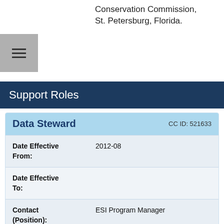Conservation Commission, St. Petersburg, Florida.
Support Roles
| Field | Value |
| --- | --- |
| Data Steward | CC ID: 521633 |
| Date Effective From: | 2012-08 |
| Date Effective To: |  |
| Contact (Position): | ESI Program Manager |
| Address: | 7600 Sand Point Way NE Seattle, WA 98115 |
| Email Address: | orr.esi@noaa.gov |